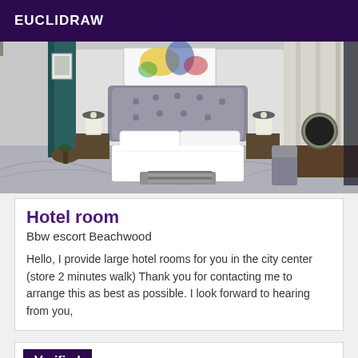EUCLIDRAW
[Figure (photo): Luxury hotel room with a king-size bed with silver tufted headboard, white bedding, striped bench at foot of bed, patterned carpet, side tables with lamps, artwork above headboard, desk with round mirror lamp on right side.]
Hotel room
Bbw escort Beachwood
Hello, I provide large hotel rooms for you in the city center (store 2 minutes walk) Thank you for contacting me to arrange this as best as possible. I look forward to hearing from you,
Verified